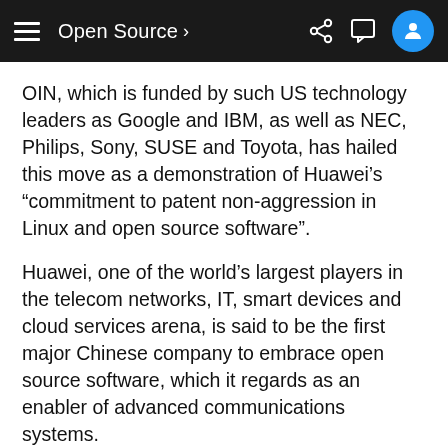Open Source >
OIN, which is funded by such US technology leaders as Google and IBM, as well as NEC, Philips, Sony, SUSE and Toyota, has hailed this move as a demonstration of Huawei’s “commitment to patent non-aggression in Linux and open source software”.
Huawei, one of the world’s largest players in the telecom networks, IT, smart devices and cloud services arena, is said to be the first major Chinese company to embrace open source software, which it regards as an enabler of advanced communications systems.
Yesterday’s announcement of Huawei’s OIN membership comes only days after Huawei reported its smallest profit increase in three years, which analysts